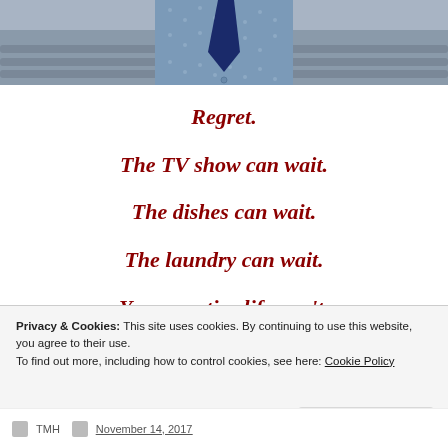[Figure (photo): Partial photo of a person wearing a blue dotted shirt and dark navy tie, with wooden logs in the background. Only the torso/chest area is visible.]
Regret.
The TV show can wait.
The dishes can wait.
The laundry can wait.
Your creative life can't.
Privacy & Cookies: This site uses cookies. By continuing to use this website, you agree to their use.
To find out more, including how to control cookies, see here: Cookie Policy
TMH  November 14, 2017